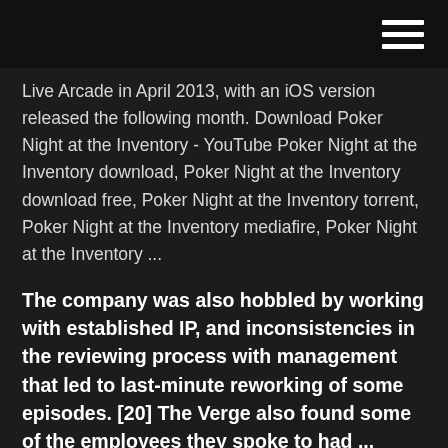Live Arcade in April 2013, with an iOS version released the following month. Download Poker Night at the Inventory - YouTube Poker Night at the Inventory download, Poker Night at the Inventory download free, Poker Night at the Inventory torrent, Poker Night at the Inventory mediafire, Poker Night at the Inventory ...
The company was also hobbled by working with established IP, and inconsistencies in the reviewing process with management that led to last-minute reworking of some episodes. [20] The Verge also found some of the employees they spoke to had ...